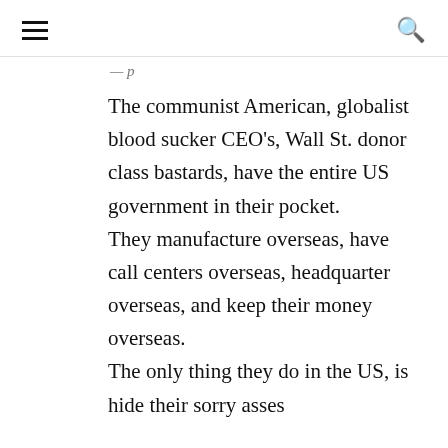≡  🔍
The communist American, globalist blood sucker CEO's, Wall St. donor class bastards, have the entire US government in their pocket. They manufacture overseas, have call centers overseas, headquarter overseas, and keep their money overseas. The only thing they do in the US, is hide their sorry asses